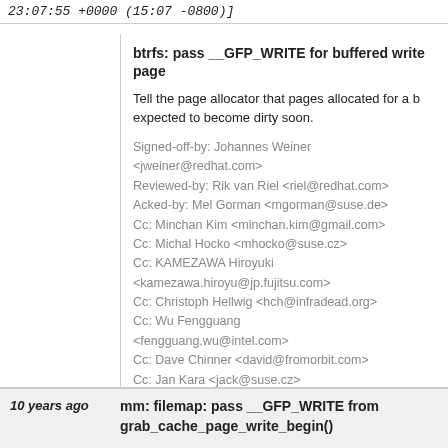23:07:55 +0000 (15:07 -0800)]
btrfs: pass __GFP_WRITE for buffered write page
Tell the page allocator that pages allocated for a b expected to become dirty soon.
Signed-off-by: Johannes Weiner <jweiner@redhat.com>
Reviewed-by: Rik van Riel <riel@redhat.com>
Acked-by: Mel Gorman <mgorman@suse.de>
Cc: Minchan Kim <minchan.kim@gmail.com>
Cc: Michal Hocko <mhocko@suse.cz>
Cc: KAMEZAWA Hiroyuki <kamezawa.hiroyu@jp.fujitsu.com>
Cc: Christoph Hellwig <hch@infradead.org>
Cc: Wu Fengguang <fengguang.wu@intel.com>
Cc: Dave Chinner <david@fromorbit.com>
Cc: Jan Kara <jack@suse.cz>
Cc: Shaohua Li <shaohua.li@intel.com>
Cc: Chris Mason <chris.mason@oracle.com>
Signed-off-by: Andrew Morton <akpm@linux-foundation.org>
Signed-off-by: Linus Torvalds <torvalds@linux-foundation.org>
10 years ago     mm: filemap: pass __GFP_WRITE from grab_cache_page_write_begin()